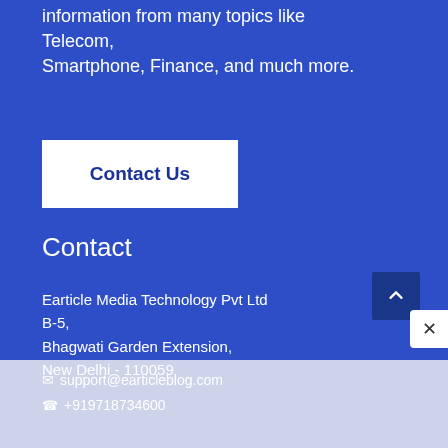information from many topics like Telecom, Smartphone, Finance, and much more.
Contact Us
Contact
Earticle Media Technology Pvt Ltd
B-5,
Bhagwati Garden Extension,
New Delhi - 110059
✉ support@earticleblog.com
☎ +919718734600